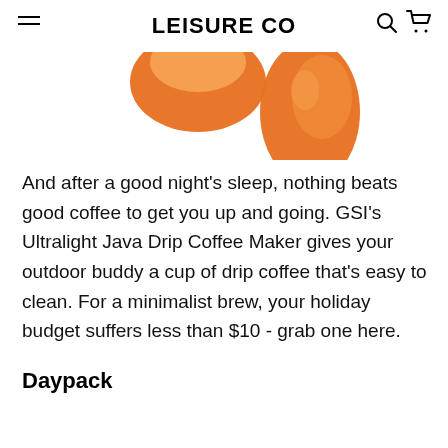LEISURE CO
[Figure (photo): Partial view of orange coffee bean and cup product images at top of page]
And after a good night’s sleep, nothing beats good coffee to get you up and going. GSI’s Ultralight Java Drip Coffee Maker gives your outdoor buddy a cup of drip coffee that’s easy to clean. For a minimalist brew, your holiday budget suffers less than $10 - grab one here.
Daypack